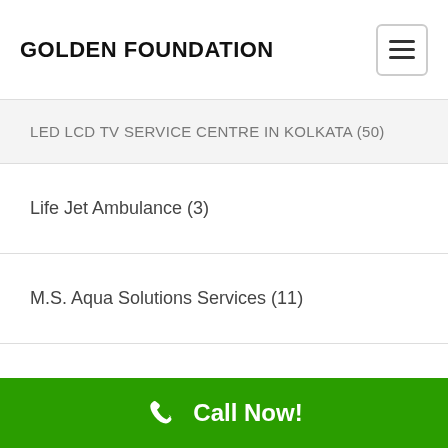GOLDEN FOUNDATION
LED LCD TV SERVICE CENTRE IN KOLKATA (50)
Life Jet Ambulance (3)
M.S. Aqua Solutions Services (11)
Mobile App (35)
Msaqua keyword (1)
news portal website design (1)
Positive Think (1)
Rajkumari aya service center (29)
Randel Helper (17)
Call Now!